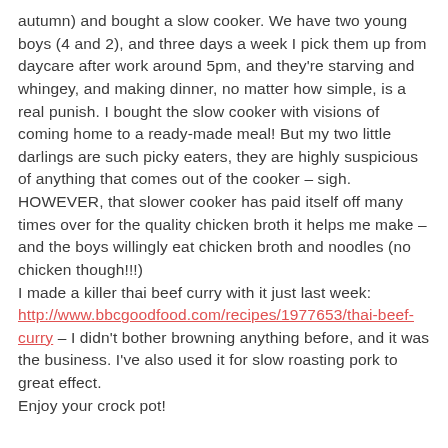autumn) and bought a slow cooker. We have two young boys (4 and 2), and three days a week I pick them up from daycare after work around 5pm, and they're starving and whingey, and making dinner, no matter how simple, is a real punish. I bought the slow cooker with visions of coming home to a ready-made meal! But my two little darlings are such picky eaters, they are highly suspicious of anything that comes out of the cooker – sigh. HOWEVER, that slower cooker has paid itself off many times over for the quality chicken broth it helps me make – and the boys willingly eat chicken broth and noodles (no chicken though!!!) I made a killer thai beef curry with it just last week: http://www.bbcgoodfood.com/recipes/1977653/thai-beef-curry – I didn't bother browning anything before, and it was the business. I've also used it for slow roasting pork to great effect. Enjoy your crock pot!